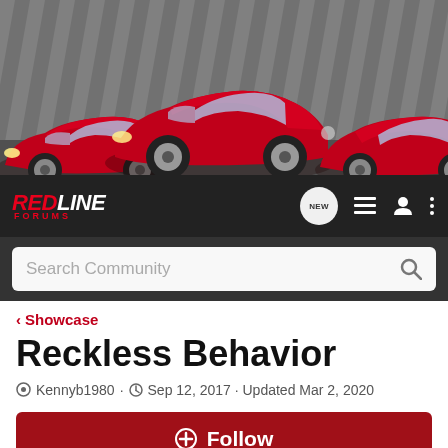[Figure (photo): Banner photo showing three red Saturn cars parked in front of a striped background. The cars are sporty coupes/sedans.]
[Figure (logo): Red Line Forums logo in red text with 'FORUMS' subtitle, on dark navbar with navigation icons including NEW bubble, list, user, and menu icons.]
Search Community
< Showcase
Reckless Behavior
Kennyb1980 · Sep 12, 2017 · Updated Mar 2, 2020
+ Follow